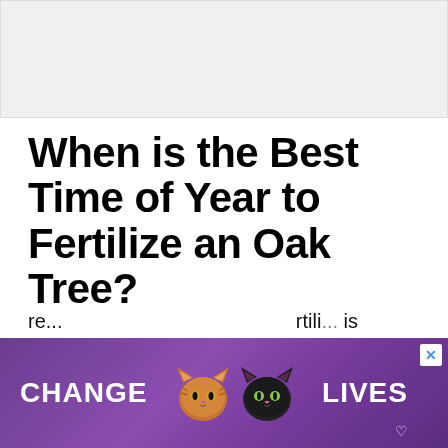[Figure (other): Gray advertisement banner placeholder at top of page]
When is the Best Time of Year to Fertilize an Oak Tree?
The best time of year to fertilize is in the mid-spring – and this is actually a general rule of thumb for any type of plant and oak tree. The re... rtili... is
[Figure (other): Advertisement banner overlay reading CHANGE LIVES with two cat faces (orange tabby and black cat) on a purple background, with a close X button]